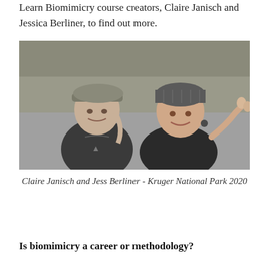Learn Biomimicry course creators, Claire Janisch and Jessica Berliner, to find out more.
[Figure (photo): Black and white photograph of Claire Janisch and Jess Berliner outdoors in a natural setting. Claire is on the left wearing a cap and dark vest jacket. Jess is on the right wearing a knit beanie and dark jacket, holding something small in her raised hand. Both are smiling.]
Claire Janisch and Jess Berliner - Kruger National Park 2020
Is biomimicry a career or methodology?